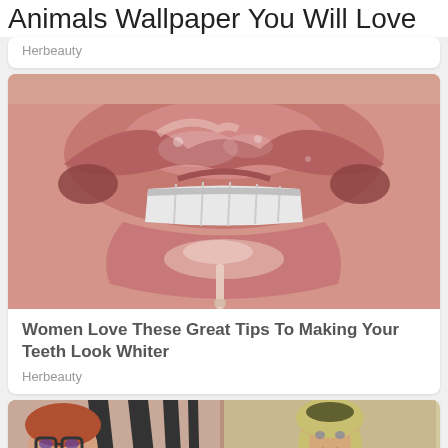Animals Wallpaper You Will Love
Herbeauty
[Figure (photo): Close-up photo of glossy lips with lip gloss applicator]
Women Love These Great Tips To Making Your Teeth Look Whiter
Herbeauty
[Figure (photo): Two photos side by side: left shows a woman with glasses lying down near a zebra-print fabric, right shows a blonde woman taking a mirror selfie]